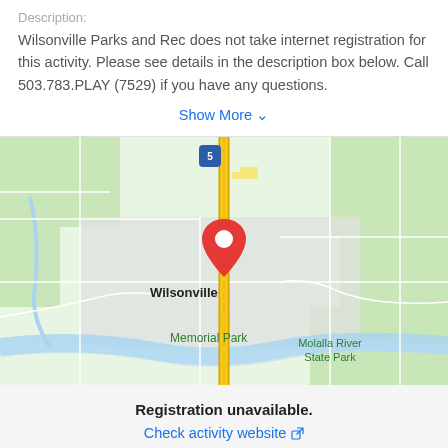Wilsonville Parks and Rec does not take internet registration for this activity. Please see details in the description box below. Call 503.783.PLAY (7529) if you have any questions.
Show More
[Figure (map): Google Map showing Wilsonville area with a red location pin marker near Memorial Park. Interstate 5 runs vertically through the center. Nearby labels include Wilsonville, Memorial Park, and Molalla River State Park. A blue shield icon with '5' marks Interstate 5 at the top.]
Registration unavailable.
Check activity website